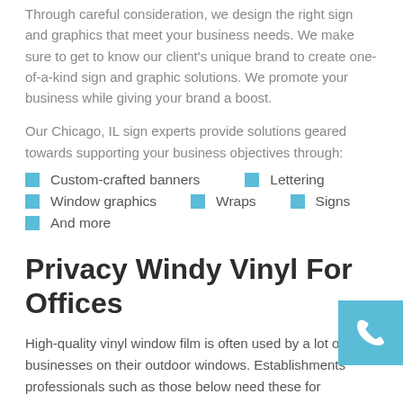Through careful consideration, we design the right sign and graphics that meet your business needs. We make sure to get to know our client's unique brand to create one-of-a-kind sign and graphic solutions. We promote your business while giving your brand a boost.
Our Chicago, IL sign experts provide solutions geared towards supporting your business objectives through:
Custom-crafted banners
Lettering
Window graphics
Wraps
Signs
And more
Privacy Windy Vinyl For Offices
High-quality vinyl window film is often used by a lot of businesses on their outdoor windows. Establishments professionals such as those below need these for promotion, branding, or giving up